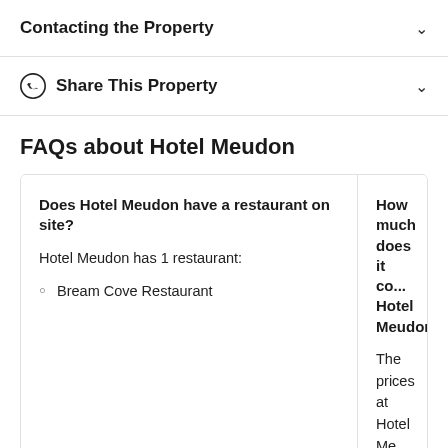Contacting the Property
Share This Property
FAQs about Hotel Meudon
Does Hotel Meudon have a restaurant on site?
Hotel Meudon has 1 restaurant:
Bream Cove Restaurant
How much does it co... Hotel Meudon?
The prices at Hotel Me... depending on your sta... hotel's policy etc.). To ... enter your dates.